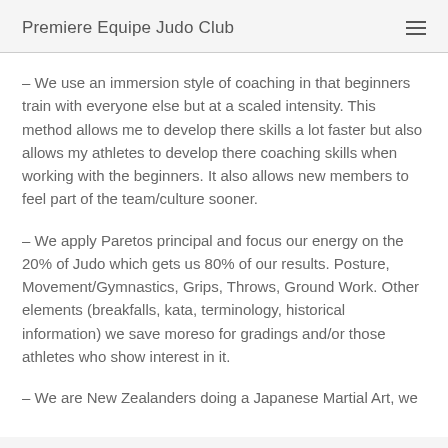Premiere Equipe Judo Club
– We use an immersion style of coaching in that beginners train with everyone else but at a scaled intensity. This method allows me to develop there skills a lot faster but also allows my athletes to develop there coaching skills when working with the beginners. It also allows new members to feel part of the team/culture sooner.
– We apply Paretos principal and focus our energy on the 20% of Judo which gets us 80% of our results. Posture, Movement/Gymnastics, Grips, Throws, Ground Work. Other elements (breakfalls, kata, terminology, historical information) we save moreso for gradings and/or those athletes who show interest in it.
– We are New Zealanders doing a Japanese Martial Art, we